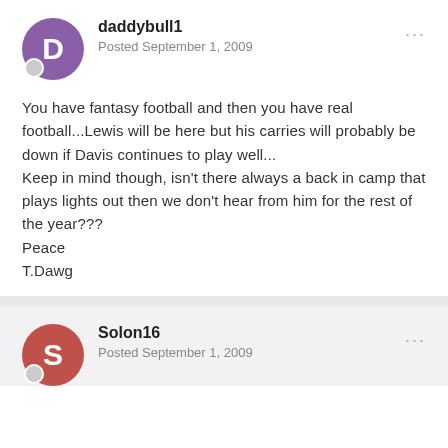daddybull1 — Posted September 1, 2009
You have fantasy football and then you have real football...Lewis will be here but his carries will probably be down if Davis continues to play well...
Keep in mind though, isn't there always a back in camp that plays lights out then we don't hear from him for the rest of the year???
Peace
T.Dawg
Solon16 — Posted September 1, 2009